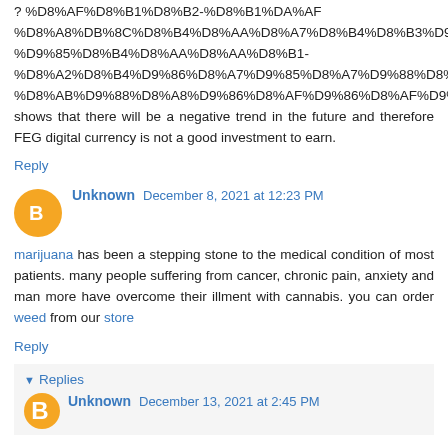? %D8%AF%D8%B1%D8%B2-%D8%B1%DA%AF %D8%A8%DB%8C%D8%B4%D8%AA%D8%AA%D8%B1- %D8%A2%D8%B4%D9%86%D8%A7%D8%B7- %D8%AB%D9%88%D8%A8%D9%86%D8%AF%D9%86%D8%AF%D9%88%D8%AF%D9%88%D9%88%D8%AF shows that there will be a negative trend in the future and therefore FEG digital currency is not a good investment to earn.
Reply
Unknown December 8, 2021 at 12:23 PM
marijuana has been a stepping stone to the medical condition of most patients. many people suffering from cancer, chronic pain, anxiety and man more have overcome their illment with cannabis. you can order weed from our store
Reply
Replies
Unknown December 13, 2021 at 2:45 PM